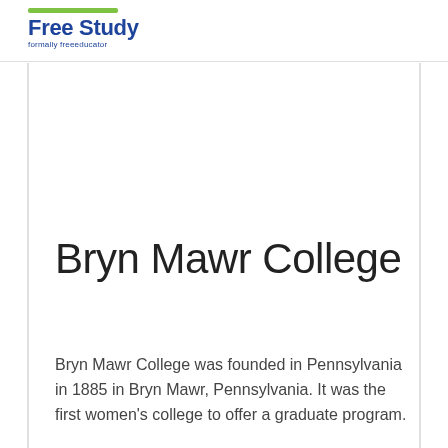Free Study formally freeeducator
Bryn Mawr College
Bryn Mawr College was founded in Pennsylvania in 1885 in Bryn Mawr, Pennsylvania. It was the first women's college to offer a graduate program.